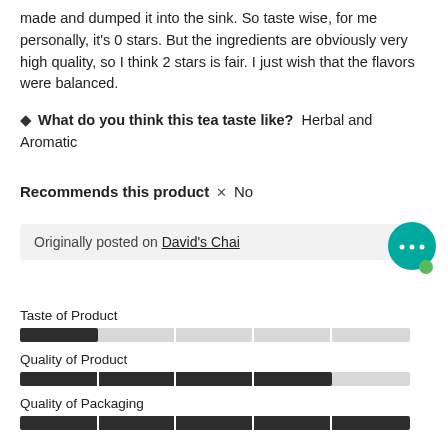made and dumped it into the sink. So taste wise, for me personally, it's 0 stars. But the ingredients are obviously very high quality, so I think 2 stars is fair. I just wish that the flavors were balanced.
What do you think this tea taste like? Herbal and Aromatic
Recommends this product ✗ No
Originally posted on David's Chai
[Figure (infographic): Teal chat bubble icon with ellipsis and green dot]
Taste of Product
[Figure (bar-chart): Taste of Product]
Quality of Product
[Figure (bar-chart): Quality of Product]
Quality of Packaging
[Figure (bar-chart): Quality of Packaging]